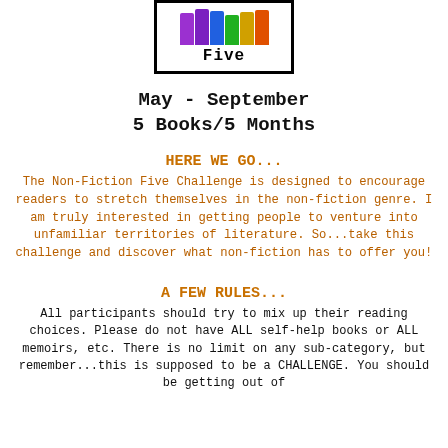[Figure (logo): Non-Fiction Five challenge logo: rainbow-colored book spines in a box with the word 'Five' below them]
May - September
5 Books/5 Months
HERE WE GO...
The Non-Fiction Five Challenge is designed to encourage readers to stretch themselves in the non-fiction genre. I am truly interested in getting people to venture into unfamiliar territories of literature. So...take this challenge and discover what non-fiction has to offer you!
A FEW RULES...
All participants should try to mix up their reading choices. Please do not have ALL self-help books or ALL memoirs, etc. There is no limit on any sub-category, but remember...this is supposed to be a CHALLENGE. You should be getting out of